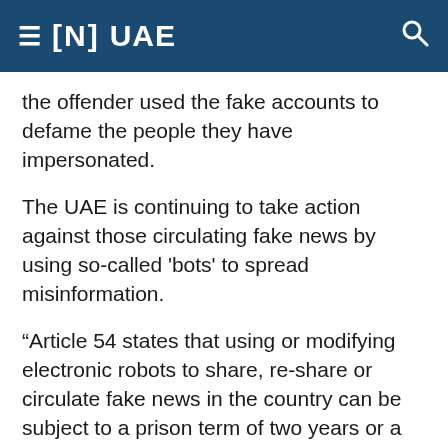≡ [N] UAE
the offender used the fake accounts to defame the people they have impersonated.
The UAE is continuing to take action against those circulating fake news by using so-called 'bots' to spread misinformation.
“Article 54 states that using or modifying electronic robots to share, re-share or circulate fake news in the country can be subject to a prison term of two years or a fine not less than Dh100,000 and up to Dh1 million, or both,” said Dr Elhais.
Updated: December 24, 2021, 12:10 PM